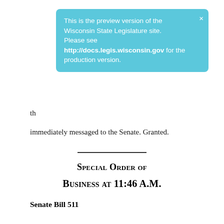[Figure (screenshot): Light blue preview banner notification for Wisconsin State Legislature site, with close X button, stating this is the preview version and directing to http://docs.legis.wisconsin.gov for production version.]
th
immediately messaged to the Senate. Granted.
Special Order of Business at 11:46 A.M.
Senate Bill 511
Relating to: claims for compensation for post-traumatic stress disorder by police officers and fire fighters under the worker's compensation law.
The question was: Shall Assembly Substitute Amendment 1 to Senate Bill 511 be adopted?